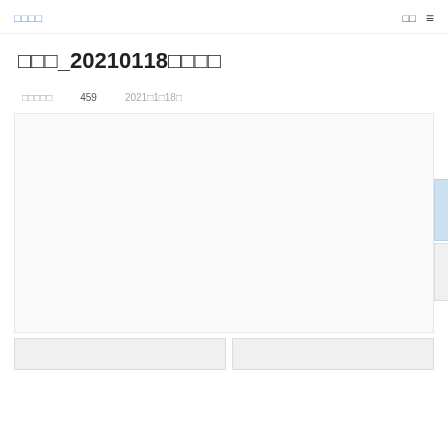□□□□  □□  ≡
□□□_20210118□□□□
□□□□□   459   2021□1□18□
[Figure (photo): Large content image area with two small widget boxes overlapping on the right side]
[Figure (photo): Two thumbnail image boxes at the bottom]